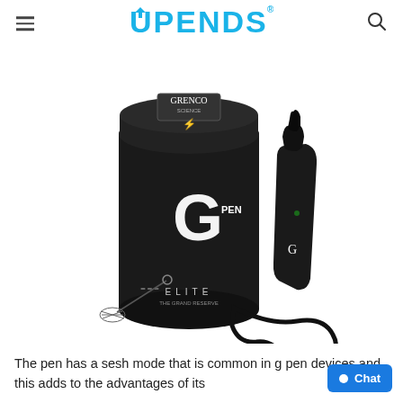UPENDS
[Figure (photo): G Pen Elite vaporizer product photo showing a black cylindrical packaging tube with G Pen logo, a black handheld vaporizer device, a USB charging cable, and a small cleaning brush, all on white background.]
The pen has a sesh mode that is common in g pen devices and this adds to the advantages of its